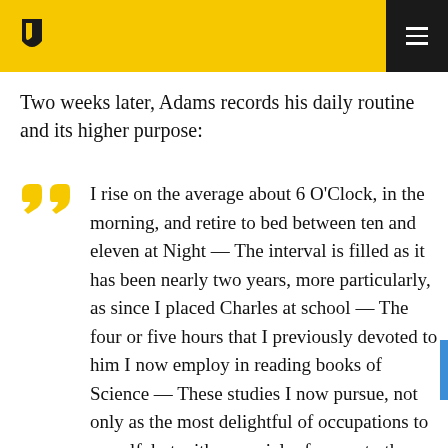[Logo and navigation bar with yellow background and hamburger menu]
Two weeks later, Adams records his daily routine and its higher purpose:
I rise on the average about 6 O'Clock, in the morning, and retire to bed between ten and eleven at Night — The interval is filled as it has been nearly two years, more particularly, as since I placed Charles at school — The four or five hours that I previously devoted to him I now employ in reading books of Science — These studies I now pursue, not only as the most delightful of occupations to myself, but with a special reference to the improvement and education of my children.